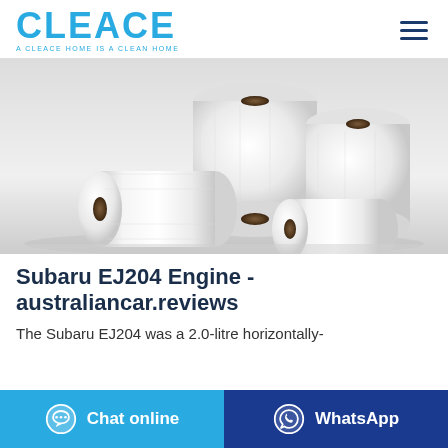CLEACE — A CLEACE HOME IS A CLEAN HOME
[Figure (photo): Three white paper towel rolls arranged together against a light background — one lying horizontally on the left and two stacked upright on the right.]
Subaru EJ204 Engine - australiancar.reviews
The Subaru EJ204 was a 2.0-litre horizontally-
Chat online
WhatsApp